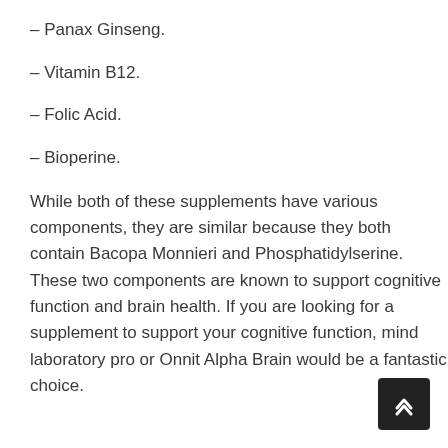– Panax Ginseng.
– Vitamin B12.
– Folic Acid.
– Bioperine.
While both of these supplements have various components, they are similar because they both contain Bacopa Monnieri and Phosphatidylserine. These two components are known to support cognitive function and brain health. If you are looking for a supplement to support your cognitive function, mind laboratory pro or Onnit Alpha Brain would be a fantastic choice.